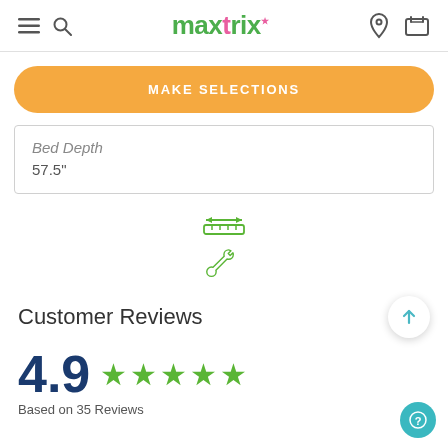maxtrix
MAKE SELECTIONS
| Bed Depth |
| --- |
| 57.5" |
[Figure (illustration): Green ruler/measurement icon]
[Figure (illustration): Green wrench icon]
Customer Reviews
4.9  ★★★★★